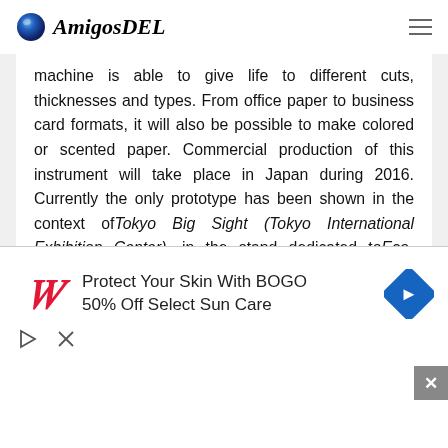AmigosDEL
machine is able to give life to different cuts, thicknesses and types. From office paper to business card formats, it will also be possible to make colored or scented paper. Commercial production of this instrument will take place in Japan during 2016. Currently the only prototype has been shown in the context of Tokyo Big Sight (Tokyo International Exhibition Center), in the stand dedicated to Eco-Products.
The machine is capable of producing
[Figure (screenshot): Advertisement banner: Walgreens ad - Protect Your Skin With BOGO 50% Off Select Sun Care]